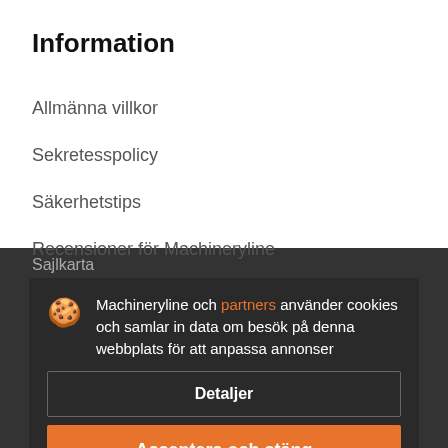Information
Allmänna villkor
Sekretesspolicy
Säkerhetstips
Recensioner för Machineryline
Sajlkarta
Machineryline och partners använder cookies och samlar in data om besök på denna webbplats för att anpassa annonser
Detaljer
Acceptera och stäng